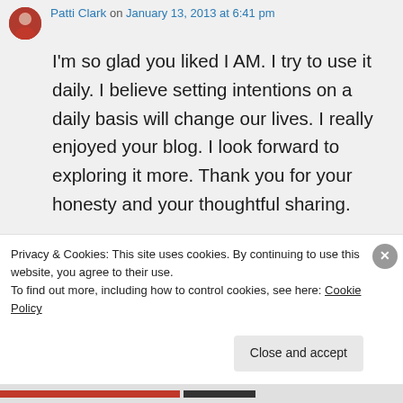Patti Clark on January 13, 2013 at 6:41 pm
I'm so glad you liked I AM. I try to use it daily. I believe setting intentions on a daily basis will change our lives. I really enjoyed your blog. I look forward to exploring it more. Thank you for your honesty and your thoughtful sharing.
★ Like
↳ Reply
Privacy & Cookies: This site uses cookies. By continuing to use this website, you agree to their use.
To find out more, including how to control cookies, see here: Cookie Policy
Close and accept